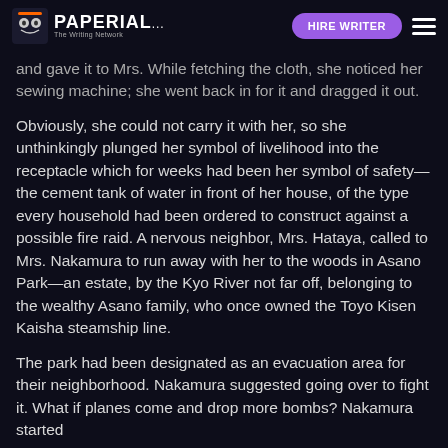PAPERIAL... HIRE WRITER
and gave it to Mrs. While fetching the cloth, she noticed her sewing machine; she went back in for it and dragged it out.
Obviously, she could not carry it with her, so she unthinkingly plunged her symbol of livelihood into the receptacle which for weeks had been her symbol of safety—the cement tank of water in front of her house, of the type every household had been ordered to construct against a possible fire raid. A nervous neighbor, Mrs. Hataya, called to Mrs. Nakamura to run away with her to the woods in Asano Park—an estate, by the Kyo River not far off, belonging to the wealthy Asano family, who once owned the Toyo Kisen Kaisha steamship line.
The park had been designated as an evacuation area for their neighborhood. Nakamura suggested going over to fight it. What if planes come and drop more bombs? Nakamura started